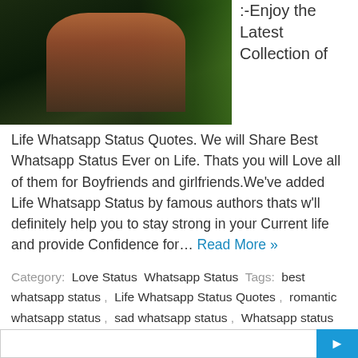[Figure (photo): A performer on stage under green lighting, wearing dark outfit, against a dark background with green accent lighting.]
:-Enjoy the Latest Collection of
Life Whatsapp Status Quotes. We will Share Best Whatsapp Status Ever on Life. Thats you will Love all of them for Boyfriends and girlfriends.We've added Life Whatsapp Status by famous authors thats w'll definitely help you to stay strong in your Current life and provide Confidence for… Read More »
Category: Love Status  Whatsapp Status  Tags: best whatsapp status ,  Life Whatsapp Status Quotes ,  romantic whatsapp status ,  sad whatsapp status ,  Whatsapp status attitude ,  whatsapp status love